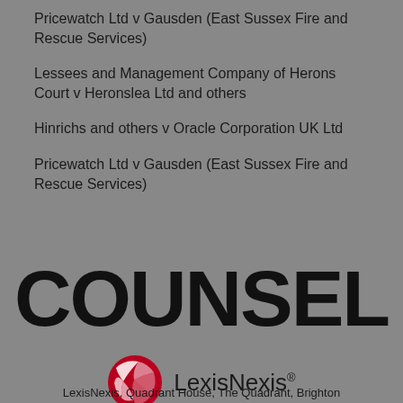Pricewatch Ltd v Gausden (East Sussex Fire and Rescue Services)
Lessees and Management Company of Herons Court v Heronslea Ltd and others
Hinrichs and others v Oracle Corporation UK Ltd
Pricewatch Ltd v Gausden (East Sussex Fire and Rescue Services)
[Figure (logo): COUNSEL magazine logo in large bold black text]
[Figure (logo): LexisNexis logo with red globe icon and LexisNexis text]
LexisNexis, Quadrant House, The Quadrant, Brighton